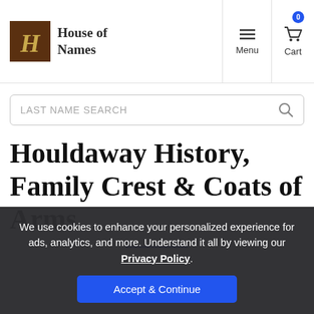House of Names — Menu | Cart
LAST NAME SEARCH
Houldaway History, Family Crest & Coats of Arms
We use cookies to enhance your personalized experience for ads, analytics, and more. Understand it all by viewing our Privacy Policy.
Accept & Continue